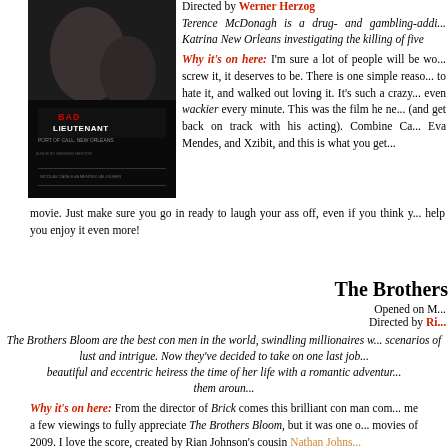[Figure (photo): Movie poster for Bad Lieutenant: Port of Call New Orleans directed by Werner Herzog, showing two faces in black and white]
Directed by Werner Herzog
Terence McDonagh is a drug- and gambling-addicted detective in post-Katrina New Orleans investigating the killing of five Senegalese immigrants.
Why it's on here: I'm sure a lot of people will be wondering why this is on here, but screw it, it deserves to be. There is one simple reason: Nicolas Cage. I went in ready to hate it, and walked out loving it. It's such a crazy movie, and Cage gets even wackier every minute. This was the film he needed to remind everyone (and get back on track with his acting). Combine Cage with the likes of Val Kilmer, Eva Mendes, and Xzibit, and this is what you get – a bat-shit crazy movie. Just make sure you go in ready to laugh your ass off, even if you think you're not, it'll help you enjoy it even more!
The Brothers Bloom
Opened on M...
Directed by Ri...
The Brothers Bloom are the best con men in the world, swindling millionaires with their inventive scenarios of lust and intrigue. Now they've decided to take on one last job – giving a beautiful and eccentric heiress the time of her life with a romantic adventure that takes them around...
Why it's on here: From the director of Brick comes this brilliant con man comedy. It took me a few viewings to fully appreciate The Brothers Bloom, but it was one of my favorite movies of 2009. I love the score, created by Rian Johnson's cousin Nathan Johnson, and the three lead performances from Rachel Weisz, Adrien Brody, and Mark Ruffalo are all excellent as well. It's a great con man comedy with a story that takes them all over the world as part of a con, too, and it will take repeat viewings to figure out, but it's worth it. Joh...